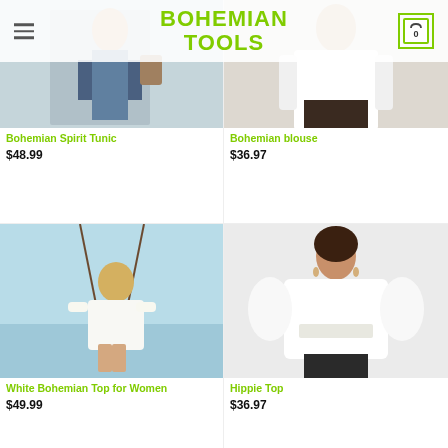BOHEMIAN TOOLS
[Figure (photo): Woman walking with bags, fashion photo for Bohemian Spirit Tunic product]
Bohemian Spirit Tunic
$48.99
[Figure (photo): Woman in white off-shoulder blouse, fashion photo for Bohemian blouse product]
Bohemian blouse
$36.97
[Figure (photo): Woman on a swing at the beach wearing white top, for White Bohemian Top for Women]
White Bohemian Top for Women
$49.99
[Figure (photo): Woman in white off-shoulder wrap blouse, for Hippie Top product]
Hippie Top
$36.97